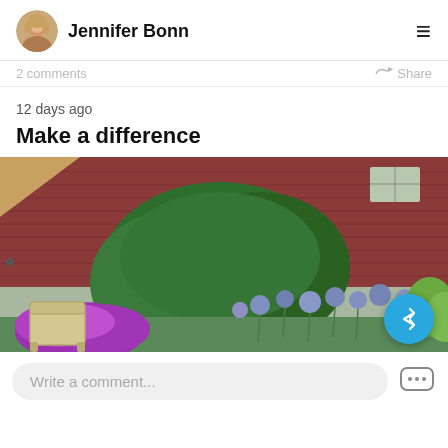Jennifer Bonn
2 comments  Share
12 days ago
Make a difference
[Figure (photo): Garden photo showing colorful purple flowers, round blue globe thistle flowers, a large green evergreen shrub, a red barn-style building in the background, and a wicker chair on the left side.]
Write a comment...